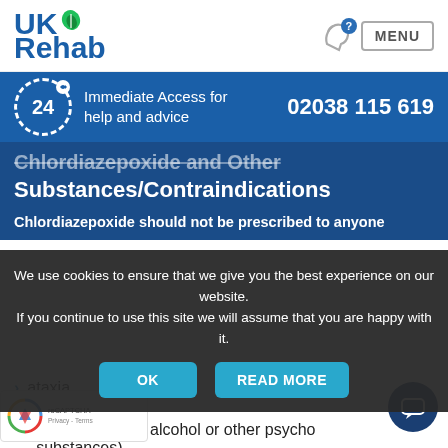[Figure (logo): UK Rehab logo with leaf icon]
Immediate Access for help and advice
02038 115 619
Chlordiazepoxide and Other Substances/Contraindications
Chlordiazepoxide should not be prescribed to anyone
We use cookies to ensure that we give you the best experience on our website. If you continue to use this site we will assume that you are happy with it.
ataxia
thenia gravis
intoxication (with alcohol or other psycho substances)